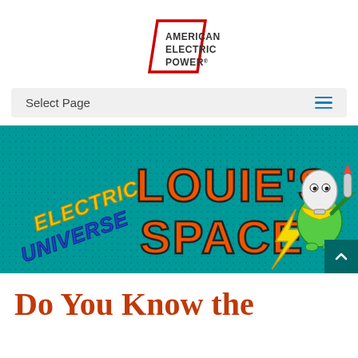[Figure (logo): American Electric Power logo — red parallelogram border with bold dark gray text 'AMERICAN ELECTRIC POWER']
Select Page
[Figure (illustration): Electric Louie's Space — banner on teal dotted background with orange bold text 'LOUIE'S SPACE', diagonal italic text 'ELECTRIC UNIVERSE' in yellow/blue, and cartoon character (green frog-like creature with lightbulb head holding a rocket with lightning bolt)]
Do You Know the